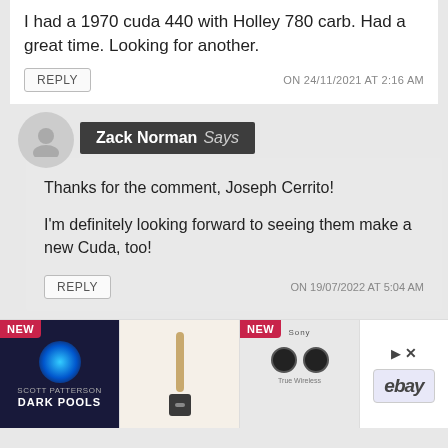I had a 1970 cuda 440 with Holley 780 carb. Had a great time. Looking for another.
REPLY
ON 24/11/2021 AT 2:16 AM
Zack Norman Says
Thanks for the comment, Joseph Cerrito!

I'm definitely looking forward to seeing them make a new Cuda, too!
REPLY
ON 19/07/2022 AT 5:04 AM
[Figure (screenshot): Advertisement banner with product images: a book titled 'Dark Pools', a USB stick/dongle, wireless earbuds with NEW badge, and an eBay logo with play/close controls]